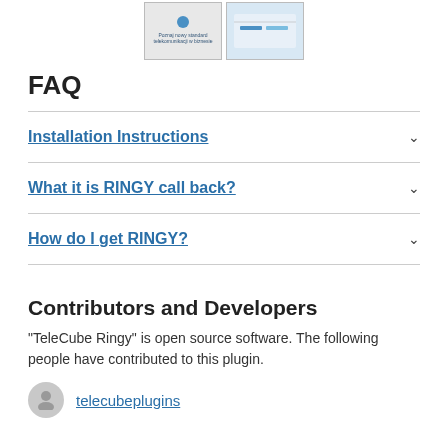[Figure (screenshot): Two thumbnail screenshots of plugin interface]
FAQ
Installation Instructions
What it is RINGY call back?
How do I get RINGY?
Contributors and Developers
“TeleCube Ringy” is open source software. The following people have contributed to this plugin.
telecubeplugins